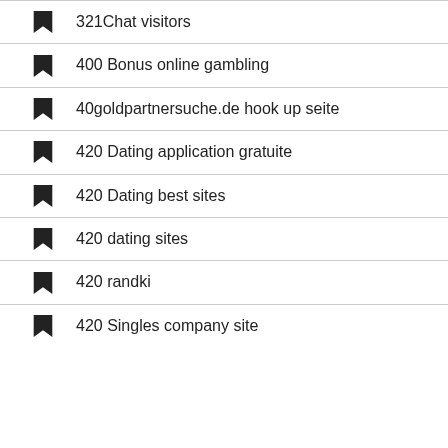321Chat visitors
400 Bonus online gambling
40goldpartnersuche.de hook up seite
420 Dating application gratuite
420 Dating best sites
420 dating sites
420 randki
420 Singles company site